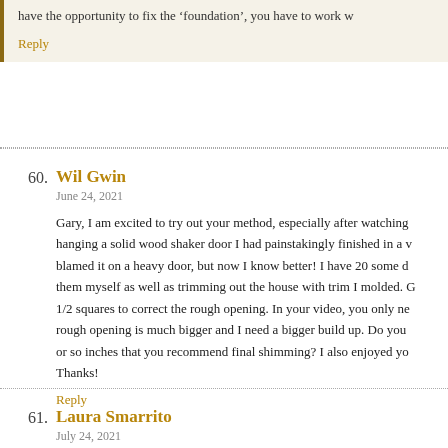have the opportunity to fix the ‘foundation’, you have to work w
Reply
60. Wil Gwin
June 24, 2021
Gary, I am excited to try out your method, especially after watching hanging a solid wood shaker door I had painstakingly finished in a v blamed it on a heavy door, but now I know better! I have 20 some d them myself as well as trimming out the house with trim I molded. 1/2 squares to correct the rough opening. In your video, you only ne rough opening is much bigger and I need a bigger build up. Do you or so inches that you recommend final shimming? I also enjoyed yo Thanks!
Reply
61. Laura Smarrito
July 24, 2021